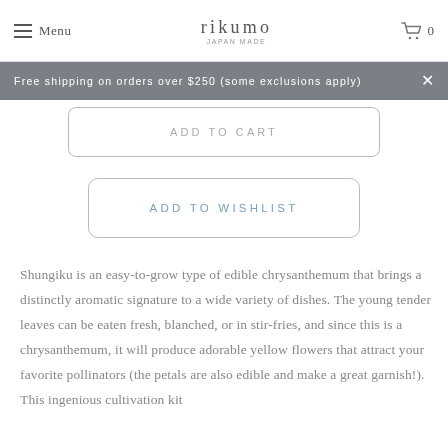Menu | rikumo | 0
Free shipping on orders over $250 (some exclusions apply)
ADD TO CART
ADD TO WISHLIST
Shungiku is an easy-to-grow type of edible chrysanthemum that brings a distinctly aromatic signature to a wide variety of dishes. The young tender leaves can be eaten fresh, blanched, or in stir-fries, and since this is a chrysanthemum, it will produce adorable yellow flowers that attract your favorite pollinators (the petals are also edible and make a great garnish!). This ingenious cultivation kit